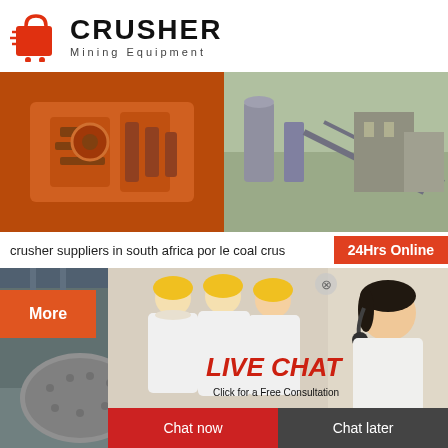[Figure (logo): Crusher Mining Equipment logo with red shopping bag icon and bold black CRUSHER text]
[Figure (photo): Orange crushing machine equipment close-up]
[Figure (photo): Industrial plant or facility aerial view with silos and conveyors]
crusher suppliers in south africa por le coal crus
24Hrs Online
More
[Figure (photo): Live chat popup with workers in yellow hard hats and LIVE CHAT text with Click for a Free Consultation subtitle, plus customer service agent with headset]
Chat now
Chat later
[Figure (photo): Industrial ball mill inside a factory]
[Figure (photo): Outdoor mining or aggregate facility with mountains in background]
Need questions & suggestion?
Chat Now
Enquiry
limingjlmofen@sina.com